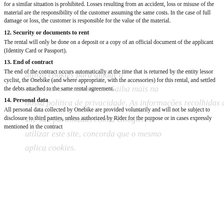for a similar situation is prohibited. Losses resulting from an accident, loss or misuse of the material are the responsibility of the customer assuming the same costs. In the case of full damage or loss, the customer is responsible for the value of the material.
12. Security or documents to rent
The rental will only be done on a deposit or a copy of an official document of the applicant (Identity Card or Passport).
13. End of contract
The end of the contract occurs automatically at the time that is returned by the entity lessor cyclist, the Onebike (and where appropriate, with the accessories) for this rental, and settled the debts attached to the same rental agreement.
14. Personal data
All personal data collected by Onebike are provided voluntarily and will not be subject to disclosure to third parties, unless authorized by Rider for the purpose or in cases expressly mentioned in the contract